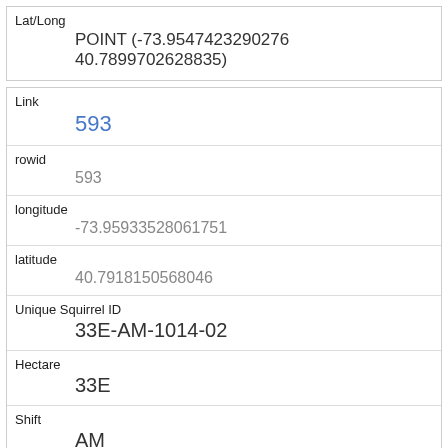| Field | Value |
| --- | --- |
| Lat/Long | POINT (-73.9547423290276 40.7899702628835) |
| Field | Value |
| --- | --- |
| Link | 593 |
| rowid | 593 |
| longitude | -73.95933528061751 |
| latitude | 40.7918150568046 |
| Unique Squirrel ID | 33E-AM-1014-02 |
| Hectare | 33E |
| Shift | AM |
| Date | 10142018 |
| Hectare Squirrel Number |  |